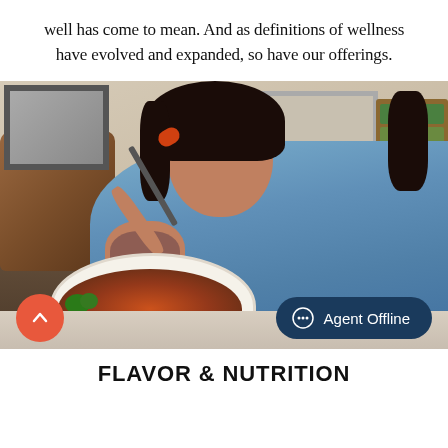well has come to mean. And as definitions of wellness have evolved and expanded, so have our offerings.
[Figure (photo): Woman in denim shirt smiling and holding a fork with food over a white bowl of pasta/noodles with shrimp and vegetables, seated at a table in a room with bookshelf and artwork in background.]
FLAVOR & NUTRITION